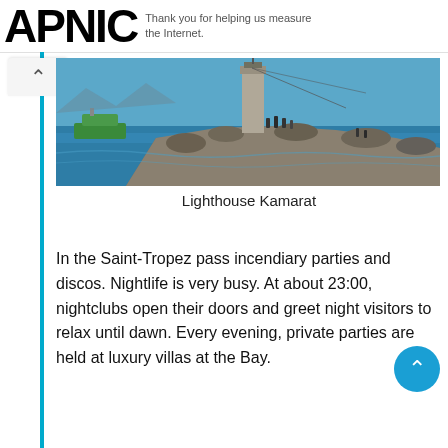APNIC  Thank you for helping us measure the Internet.
[Figure (photo): Lighthouse Kamarat — a tall stone lighthouse on a rocky jetty in Saint-Tropez, with blue sea water, a green ferry in the background, and people gathered on the rocks and pier.]
Lighthouse Kamarat
In the Saint-Tropez pass incendiary parties and discos. Nightlife is very busy. At about 23:00, nightclubs open their doors and greet night visitors to relax until dawn. Every evening, private parties are held at luxury villas at the Bay.